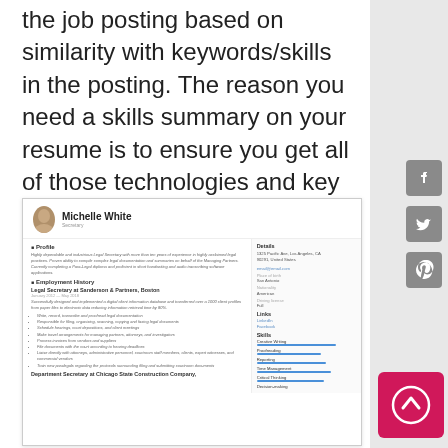the job posting based on similarity with keywords/skills in the posting. The reason you need a skills summary on your resume is to ensure you get all of those technologies and key words listed so you can score higher on these reviews.
[Figure (screenshot): A resume sample for Michelle White, Secretary, showing profile, employment history at legal and construction companies, and a skills sidebar with Creative Writing, Proofreading, Reporting, Time Management, Critical Thinking, Decision-making. Contact details show Los Angeles, CA address and links to LinkedIn and Facebook.]
[Figure (other): Social media share buttons: Facebook, Twitter, Pinterest icons on right sidebar, and a pink scroll-to-top button with upward arrow in bottom right corner.]